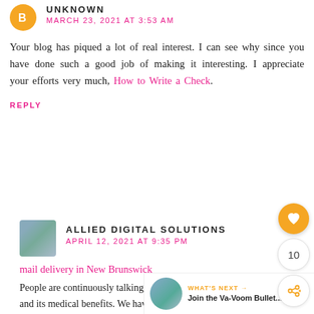[Figure (logo): Orange circular blog avatar icon with 'B' letter]
UNKNOWN
MARCH 23, 2021 AT 3:53 AM
Your blog has piqued a lot of real interest. I can see why since you have done such a good job of making it interesting. I appreciate your efforts very much, How to Write a Check.
REPLY
[Figure (photo): Small thumbnail photo of Allied Digital Solutions avatar]
ALLIED DIGITAL SOLUTIONS
APRIL 12, 2021 AT 9:35 PM
mail delivery in New Brunswick
People are continuously talking about and its medical benefits. We have collected